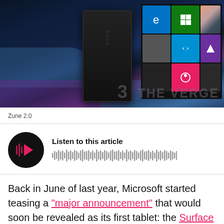[Figure (photo): Product image showing a Zune device and Windows 8 tablet with tiles interface, dark blue/purple background. The Verge watermark visible at bottom right with number 3.]
Zune 2.0
[Figure (infographic): Audio player widget with circular black play button with pink play icon and audio bars, labeled 'Listen to this article' with waveform visualization]
Back in June of last year, Microsoft started teasing a "major announcement" that would soon be revealed as its first tablet: the Surface RT. There was an air of excitement, and the expectation that